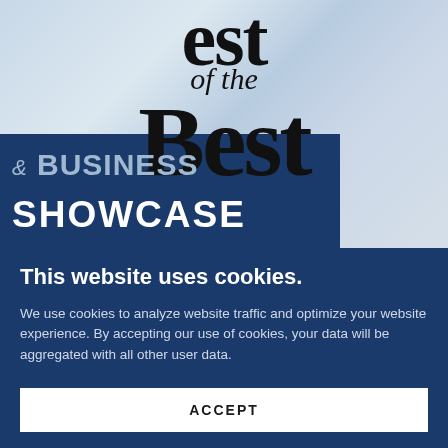[Figure (screenshot): Best of the Best & Business Showcase logo/header image on marble background with dark blue banner]
This website uses cookies.
We use cookies to analyze website traffic and optimize your website experience. By accepting our use of cookies, your data will be aggregated with all other user data.
ACCEPT